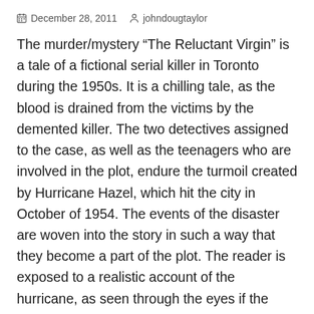December 28, 2011   johndougtaylor
The murder/mystery “The Reluctant Virgin” is a tale of a fictional serial killer in Toronto during the 1950s. It is a chilling tale, as the blood is drained from the victims by the demented killer. The two detectives assigned to the case, as well as the teenagers who are involved in the plot, endure the turmoil created by Hurricane Hazel, which hit the city in October of 1954. The events of the disaster are woven into the story in such a way that they become a part of the plot. The reader is exposed to a realistic account of the hurricane, as seen through the eyes if the fictional characters.